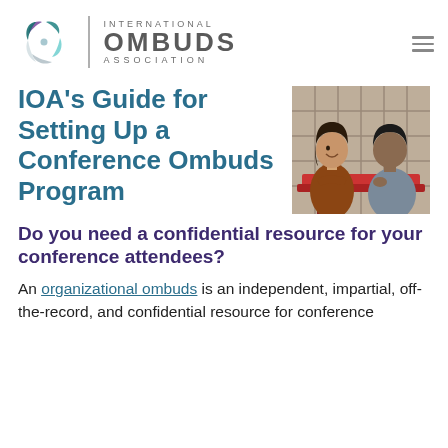International Ombuds Association
IOA's Guide for Setting Up a Conference Ombuds Program
[Figure (photo): Two people sitting across from each other at an outdoor table in conversation; one appears to be a woman smiling and one a man listening.]
Do you need a confidential resource for your conference attendees?
An organizational ombuds is an independent, impartial, off-the-record, and confidential resource for conference